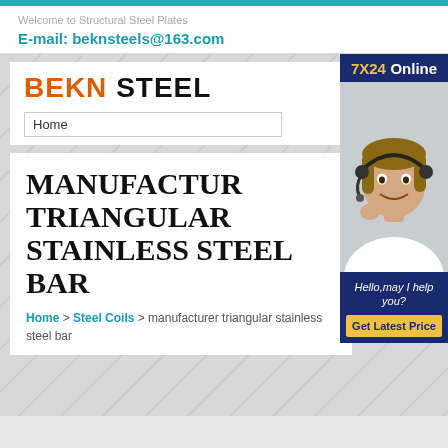Welcome to Structural Steel Plates
E-mail: beknsteels@163.com
[Figure (logo): BEKN STEEL company logo with BEKN in orange and STEEL in black, bold sans-serif font]
Home
[Figure (photo): Customer service representative wearing headset, smiling, with 7X24 Online banner and Hello may I help you? text and Get Latest Price button]
MANUFACTURER TRIANGULAR STAINLESS STEEL BAR
Home > Steel Coils > manufacturer triangular stainless steel bar